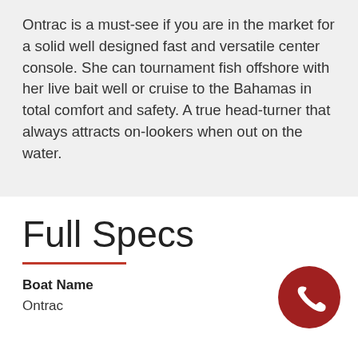Ontrac is a must-see if you are in the market for a solid well designed fast and versatile center console. She can tournament fish offshore with her live bait well or cruise to the Bahamas in total comfort and safety. A true head-turner that always attracts on-lookers when out on the water.
Full Specs
Boat Name
Ontrac